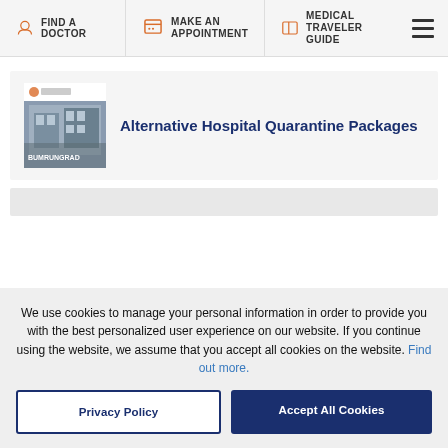FIND A DOCTOR | MAKE AN APPOINTMENT | MEDICAL TRAVELER GUIDE
[Figure (screenshot): Hospital building thumbnail with Bumrungrad logo]
Alternative Hospital Quarantine Packages
We use cookies to manage your personal information in order to provide you with the best personalized user experience on our website. If you continue using the website, we assume that you accept all cookies on the website. Find out more.
Privacy Policy | Accept All Cookies